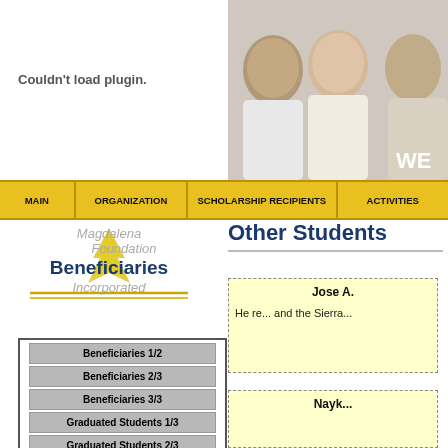[Figure (photo): Header area with 'Couldn't load plugin.' message on left and group photo of three people on right with 'WE' text overlay]
MAIN | ORGANIZATION | SCHOLARSHIP RECIPIENTS | ACTIVITIES
Magdalena Foundation Beneficiaries Incorporated
Beneficiaries 1/2
Beneficiaries 2/3
Beneficiaries 3/3
Graduated Students 1/3
Graduated Students 2/3
Graduated Students 3/3
Other Students 1/2
Other Students
Jose A.

He re... and ... Sierra...
Nayk...